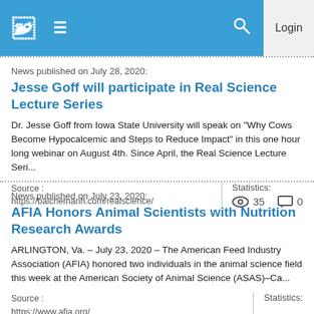Site header with logo, navigation menu, search, and Login button
News published on July 28, 2020:
Jesse Goff will participate in Real Science Lecture Series
Dr. Jesse Goff from Iowa State University will speak on “Why Cows Become Hypocalcemic and Steps to Reduce Impact” in this one hour long webinar on August 4th. Since April, the Real Science Lecture Seri...
Source : https://balchemanh.com/realscience/
Statistics: 35 views, 0 comments
News published on July 23, 2020:
AFIA Honors Animal Scientists with Nutrition Research Awards
ARLINGTON, Va. – July 23, 2020 – The American Feed Industry Association (AFIA) honored two individuals in the animal science field this week at the American Society of Animal Science (ASAS)–Ca...
Source : https://www.afia.org/
Statistics: